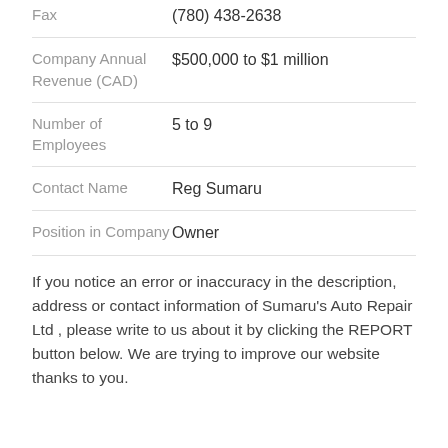| Field | Value |
| --- | --- |
| Fax | (780) 438-2638 |
| Company Annual Revenue (CAD) | $500,000 to $1 million |
| Number of Employees | 5 to 9 |
| Contact Name | Reg Sumaru |
| Position in Company | Owner |
If you notice an error or inaccuracy in the description, address or contact information of Sumaru's Auto Repair Ltd , please write to us about it by clicking the REPORT button below. We are trying to improve our website thanks to you.